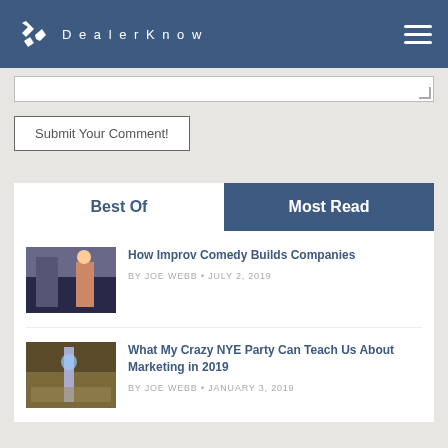DealerKnow
Submit Your Comment!
Best Of
Most Read
How Improv Comedy Builds Companies
BY JOE WEBB • JULY 2, 2019
What My Crazy NYE Party Can Teach Us About Marketing in 2019
BY JOE WEBB • JANUARY 3, 2019